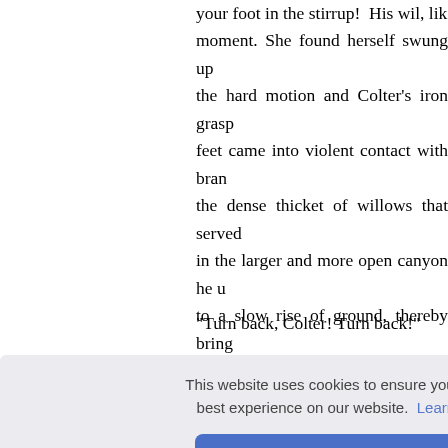your foot in the stirrup! His wil, lik moment. She found herself swung up the hard motion and Colter's iron grasp feet came into violent contact with bran the dense thicket of willows that served in the larger and more open canyon he u to a slow rise of ground, thereby bring serious bruising. Again the sunlight app with backward lunge Colter halted th voice.
"Turn back, Colter! Turn back!"
With an oath Colter wheeled his mou goaded b ntum had e saddle, t save fo se Colter . Tall pi
hissed Colter, and he bounded off, drag
This website uses cookies to ensure you get the best experience on our website. Learn more
Got it!